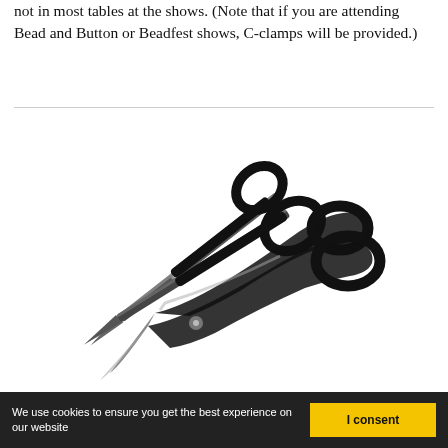not in most tables at the shows. (Note that if you are attending Bead and Button or Beadfest shows, C-clamps will be provided.)
[Figure (photo): A pair of black-handled scissors photographed on a white background, angled diagonally with blades pointing lower-left and handles upper-right.]
We use cookies to ensure you get the best experience on our website